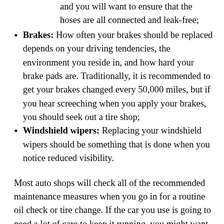and you will want to ensure that the hoses are all connected and leak-free;
Brakes: How often your brakes should be replaced depends on your driving tendencies, the environment you reside in, and how hard your brake pads are. Traditionally, it is recommended to get your brakes changed every 50,000 miles, but if you hear screeching when you apply your brakes, you should seek out a tire shop;
Windshield wipers: Replacing your windshield wipers should be something that is done when you notice reduced visibility.
Most auto shops will check all of the recommended maintenance measures when you go in for a routine oil check or tire change. If the car you use is going to need a lot of care to keep it running, you might want to sell your car and start fresh. There are tons of resources readily available to help you; from figuring out how